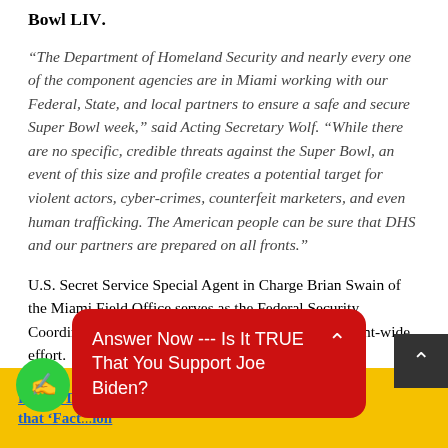Bowl LIV.
“The Department of Homeland Security and nearly every one of the component agencies are in Miami working with our Federal, State, and local partners to ensure a safe and secure Super Bowl week,” said Acting Secretary Wolf. “While there are no specific, credible threats against the Super Bowl, an event of this size and profile creates a potential target for violent actors, cyber-crimes, counterfeit marketers, and even human trafficking. The American people can be sure that DHS and our partners are prepared on all fronts.”
U.S. Secret Service Special Agent in Charge Brian Swain of the Miami Field Office serves as the Federal Security Coordinator for the Super Bowl, leading the department-wide effort.
Answer Now --- Is It TRUE That You Support Joe Biden?
READ THIS ... Court Filing that ‘Fact ... ion